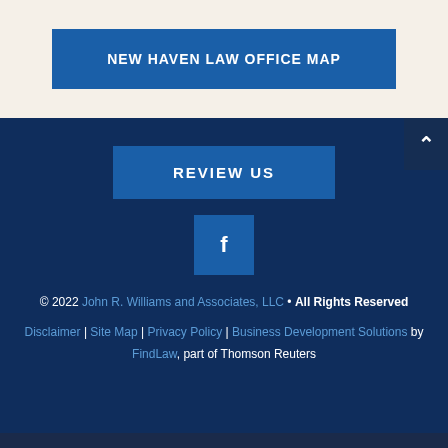[Figure (other): Blue button with text NEW HAVEN LAW OFFICE MAP on a beige/off-white background]
[Figure (other): Dark navy footer section with REVIEW US button, Facebook icon button, copyright text, and navigation links]
© 2022 John R. Williams and Associates, LLC • All Rights Reserved
Disclaimer | Site Map | Privacy Policy | Business Development Solutions by FindLaw, part of Thomson Reuters